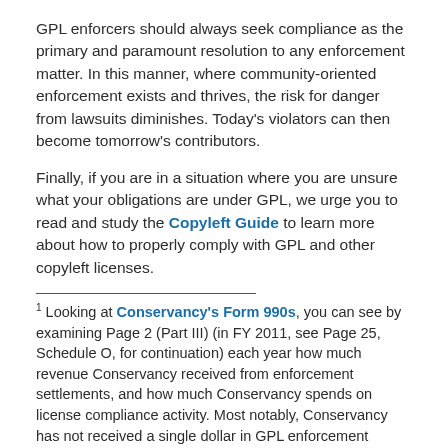GPL enforcers should always seek compliance as the primary and paramount resolution to any enforcement matter. In this manner, where community-oriented enforcement exists and thrives, the risk for danger from lawsuits diminishes. Today's violators can then become tomorrow's contributors.
Finally, if you are in a situation where you are unsure what your obligations are under GPL, we urge you to read and study the Copyleft Guide to learn more about how to properly comply with GPL and other copyleft licenses.
1 Looking at Conservancy's Form 990s, you can see by examining Page 2 (Part III) (in FY 2011, see Page 25, Schedule O, for continuation) each year how much revenue Conservancy received from enforcement settlements, and how much Conservancy spends on license compliance activity. Most notably, Conservancy has not received a single dollar in GPL enforcement revenue since FY 2012.